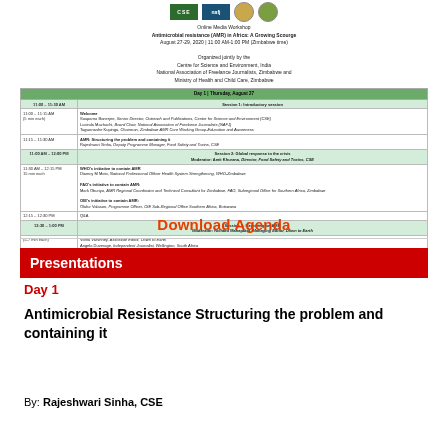[Figure (other): Logos of CSE, NAFJ, and two government/organizational emblems]
Online Media Workshop
Antimicrobial resistance (AMR) in Africa: A Growing Scourge
August 27-29, 2020 | 11:00 AM-1:00 PM (Zimbabwe time)

Organized jointly by the
Centre for Science and Environment, India
National Association of Freelance Journalists, Zimbabwe and
Ministry of Health and Child Care, Zimbabwe

Draft Agenda
| Time | Content |
| --- | --- |
| Day 1 | Thursday, August 27 |  |
| 11:00 – 11:30 AM | Session 1: Introductory session |
| 11:00 – 11:15 AM
(5 min each) | Welcome
Souparno Banerjee, Senior Director, Outreach and Publications, Centre for Science and Environment (CSE)
Lucinda Machuchi, Board Chair, National Association of Freelance Journalists (NAFJ)
Tagwanashe Kupinga, Chairman, Zimbabwe AMR Core Working Group-Education and Awareness |
| 11:15 – 11:30 AM | AMR: Structuring the problem and containing it
Rajeshwari Sinha, Deputy Programme Manager, Food Safety and Toxins, CSE |
| 11:00 AM – 12:00 PM | Session 2: Global response to the crisis
Moderator: Amit Khurana, Director, Food Safety and Toxins, CSE |
| 11:30 AM – 12:15 PM
15 min each | WHO's initiative to contain AMR
Diamcy M Moto, National Professional Officer Health System Strengthening, WHO-Zimbabwe

FAO's initiative to contain AMR:
Mark Oburiyo, AMR Regional Coordinator and Technical Consultant for Zimbabwe, FAO, Subregional Office for Southern Africa, Zimbabwe

OIE's initiative to contain AMR:
Olafur Valason, Programme Officer, OIE Sub-Regional Office Southern Africa, Botswana |
| 12:15 – 12:30 PM | Q&A |
| 12:30 – 1:00 PM | Session 3: Reporting on AMR
Moderator: Richard Mahapatra, Managing Editor, Down to Earth |
| (5-7 min each) | Vibha Varshney, Associate Editor, Down to Earth
Angela Duverage, Independent Journalist, Wellington, South Africa |
Download Agenda
Presentations
Day 1
Antimicrobial Resistance Structuring the problem and containing it
By: Rajeshwari Sinha, CSE